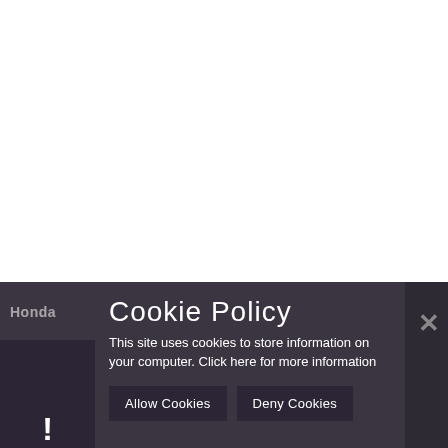[Figure (screenshot): White blank area occupying the top portion of the page, representing website content behind a cookie consent overlay.]
Cookie Policy
This site uses cookies to store information on your computer. Click here for more information
Allow Cookies
Deny Cookies